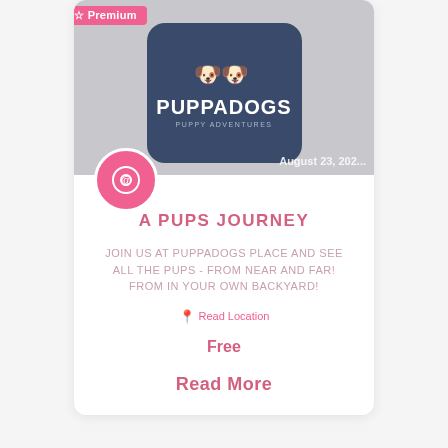[Figure (screenshot): Event card for 'A Pups Journey' featuring Puppadogs logo on dark blue rounded rectangle, with a pink Premium badge, avatar circle with @ icon, date 'August 23, 202...' overlay on banner image.]
A PUPS JOURNEY
JOIN US AT PUPPADOGS PLACE AND SEE ALL THE PUPS - FROM NEAR AND FAR!
📍 Read Location
Free
Read More